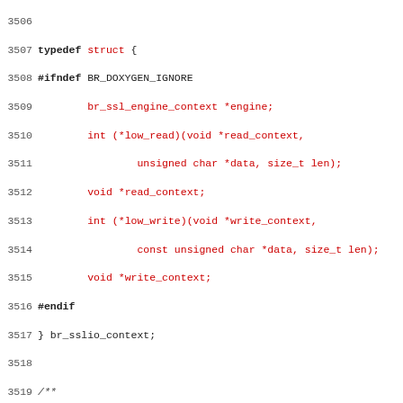Code listing lines 3507-3538 showing C typedef struct br_sslio_context and Doxygen comment block.